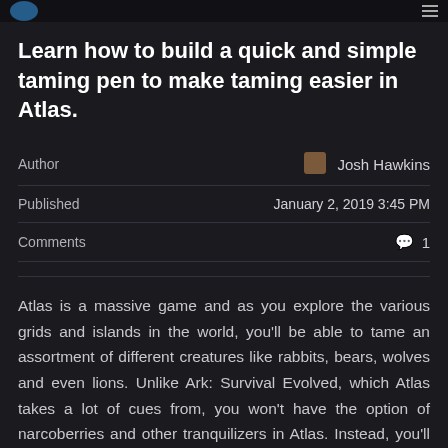Learn how to build a quick and simple taming pen to make taming easier in Atlas.
|  |  |
| --- | --- |
| Author | Josh Hawkins |
| Published | January 2, 2019 3:45 PM |
| Comments | 1 |
Atlas is a massive game and as you explore the various grids and islands in the world, you'll be able to tame an assortment of different creatures like rabbits, bears, wolves and even lions. Unlike Ark: Survival Evolved, which Atlas takes a lot of cues from, you won't have the option of narcoberries and other tranquilizers in Atlas. Instead, you'll need to tame animals the old-fashioned way. To make taming easier, we'll show you how to